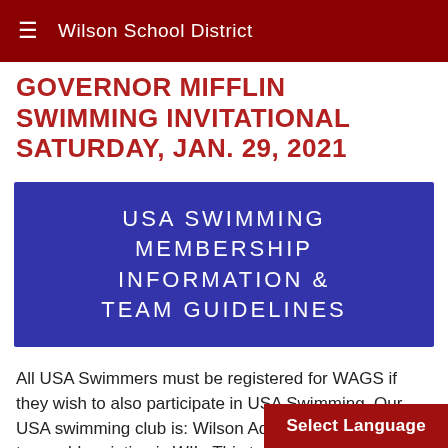Wilson School District
GOVERNOR MIFFLIN SWIMMING INVITATIONAL SATURDAY, JAN. 29, 2021
[Figure (infographic): Blue rectangular banner with text: USA SWIMMING MEMBERSHIP INFORMATION & TEAM GUIDELINES in white uppercase letters]
All USA Swimmers must be registered for WAGS if they wish to also participate in USA Swimming. Our USA swimming club is: Wilson Aquatic Club and the team abbreviation is WIL. This team is an OPTIONAL opportunity for a
Select Language